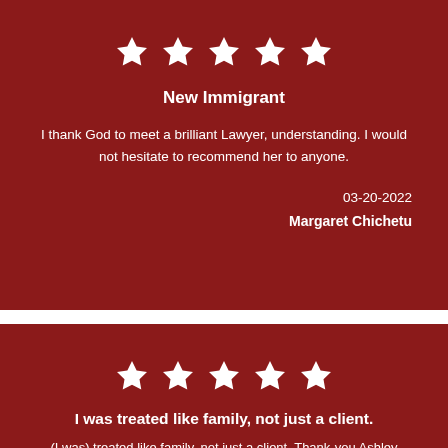[Figure (other): Five white star icons in a row (5-star rating)]
New Immigrant
I thank God to meet a brilliant Lawyer, understanding. I would not hesitate to recommend her to anyone.
03-20-2022
Margaret Chichetu
[Figure (other): Five white star icons in a row (5-star rating)]
I was treated like family, not just a client.
(I was) treated like family, not just a client. Thank-you Ashley